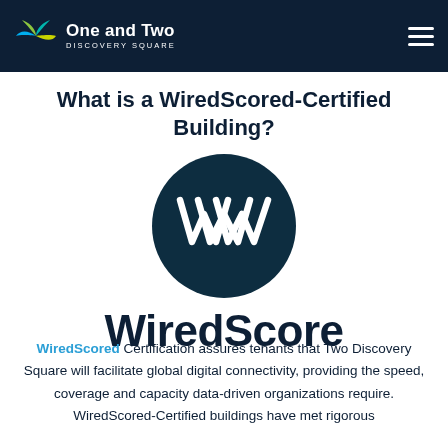One and Two Discovery Square
What is a WiredScored-Certified Building?
[Figure (logo): WiredScore circular logo — dark teal circle with white stylized W mark, with WiredScore wordmark text below]
WiredScored Certification assures tenants that Two Discovery Square will facilitate global digital connectivity, providing the speed, coverage and capacity data-driven organizations require. WiredScored-Certified buildings have met rigorous